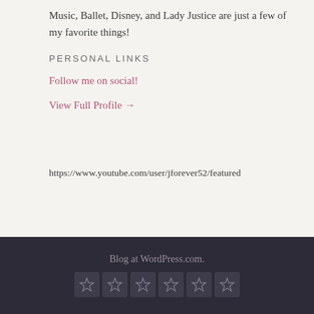Music, Ballet, Disney, and Lady Justice are just a few of my favorite things!
PERSONAL LINKS
Follow me on social!
View Full Profile →
https://www.youtube.com/user/jforever52/featured
Blog at WordPress.com.